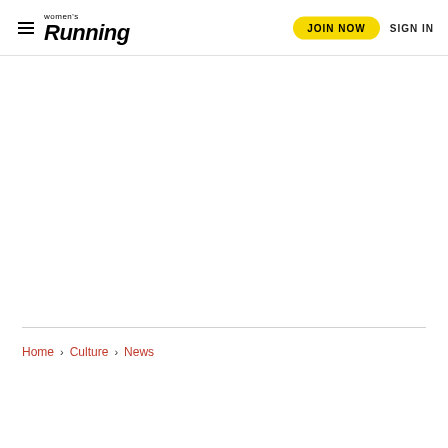women's Running — JOIN NOW  SIGN IN
Home > Culture > News